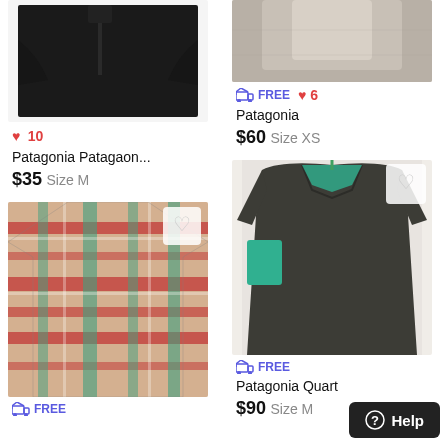[Figure (photo): Black fleece zip-up jacket laid flat on white background]
♥ 10
Patagonia Patagaon...
$35  Size M
[Figure (photo): Gray fleece jacket, partial view, on white background]
≡ FREE  ♥ 6
Patagonia
$60  Size XS
[Figure (photo): Red and teal plaid flannel shirt laid on carpet floor]
≡ FREE
[Figure (photo): Dark gray Patagonia quarter-zip fleece pullover with turquoise accents on hanger]
≡ FREE
Patagonia Quart
$90  Size M